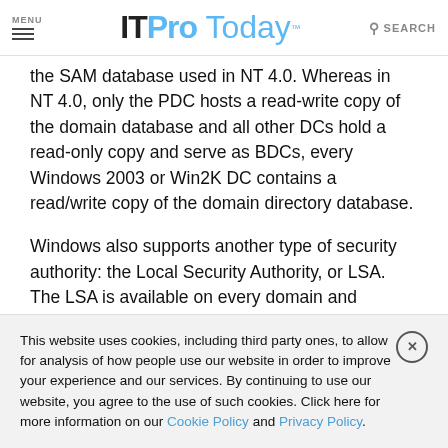MENU | ITProToday | SEARCH
the SAM database used in NT 4.0. Whereas in NT 4.0, only the PDC hosts a read-write copy of the domain database and all other DCs hold a read-only copy and serve as BDCs, every Windows 2003 or Win2K DC contains a read/write copy of the domain directory database.
Windows also supports another type of security authority: the Local Security Authority, or LSA. The LSA is available on every domain and standalone Windows machine. Even DCs have an LSA, which is activated only when the DC boots in
This website uses cookies, including third party ones, to allow for analysis of how people use our website in order to improve your experience and our services. By continuing to use our website, you agree to the use of such cookies. Click here for more information on our Cookie Policy and Privacy Policy.